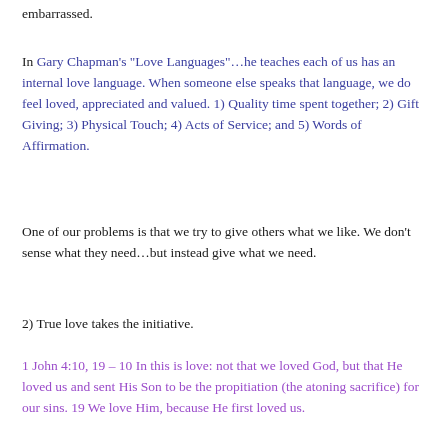embarrassed.
In Gary Chapman's “Love Languages”…he teaches each of us has an internal love language. When someone else speaks that language, we do feel loved, appreciated and valued. 1) Quality time spent together; 2) Gift Giving; 3) Physical Touch; 4) Acts of Service; and 5) Words of Affirmation.
One of our problems is that we try to give others what we like. We don’t sense what they need…but instead give what we need.
2) True love takes the initiative.
1 John 4:10, 19 – 10 In this is love: not that we loved God, but that He loved us and sent His Son to be the propitiation (the atoning sacrifice) for our sins. 19 We love Him, because He first loved us.